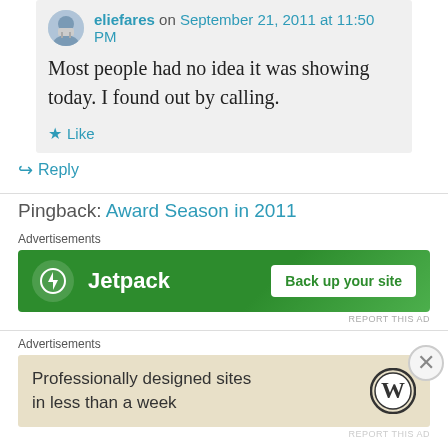eliefares on September 21, 2011 at 11:50 PM
Most people had no idea it was showing today. I found out by calling.
Like
Reply
Pingback: Award Season in 2011
[Figure (screenshot): Jetpack advertisement banner with green background, lightning bolt logo, and 'Back up your site' button]
REPORT THIS AD
[Figure (screenshot): WordPress advertisement with beige background showing 'Professionally designed sites in less than a week' text and WordPress logo]
REPORT THIS AD